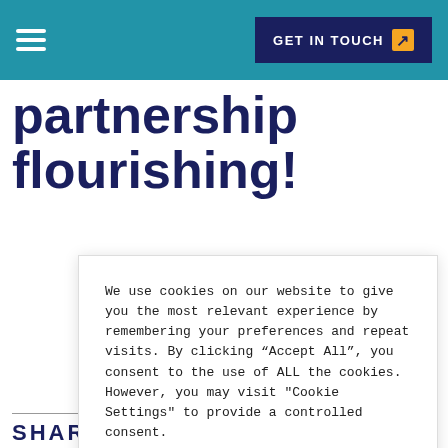GET IN TOUCH
partnership flourishing!
We use cookies on our website to give you the most relevant experience by remembering your preferences and repeat visits. By clicking “Accept All”, you consent to the use of ALL the cookies. However, you may visit "Cookie Settings" to provide a controlled consent.
Cookie Settings | Accept All
SHARE